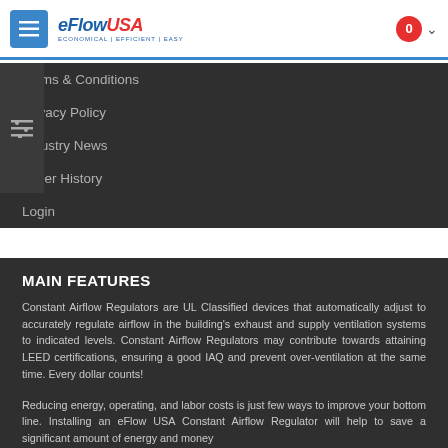[Figure (logo): eFlowUSA logo with hamburger menu button and cart icon in header bar]
Terms & Conditions
Privacy Policy
Industry News
Order History
Login
MAIN FEATURES
Constant Airflow Regulators are UL Classified devices that automatically adjust to accurately regulate airflow in the building's exhaust and supply ventilation systems to indicated levels. Constant Airflow Regulators may contribute towards attaining LEED certifications, ensuring a good IAQ and prevent over-ventilation at the same time. Every dollar counts!
Reducing energy, operating, and labor costs is just few ways to improve your bottom line. Installing an eFlow USA Constant Airflow Regulator will help to save a significant amount of energy and money